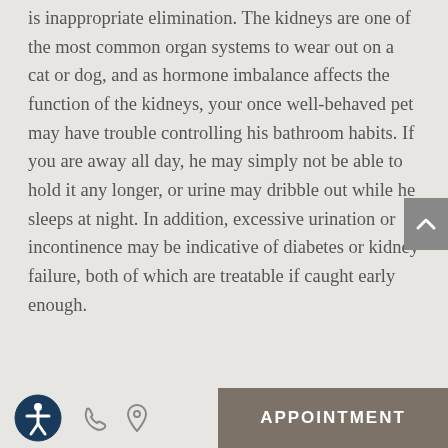is inappropriate elimination. The kidneys are one of the most common organ systems to wear out on a cat or dog, and as hormone imbalance affects the function of the kidneys, your once well-behaved pet may have trouble controlling his bathroom habits. If you are away all day, he may simply not be able to hold it any longer, or urine may dribble out while he sleeps at night. In addition, excessive urination or incontinence may be indicative of diabetes or kidney failure, both of which are treatable if caught early enough.
APPOINTMENT